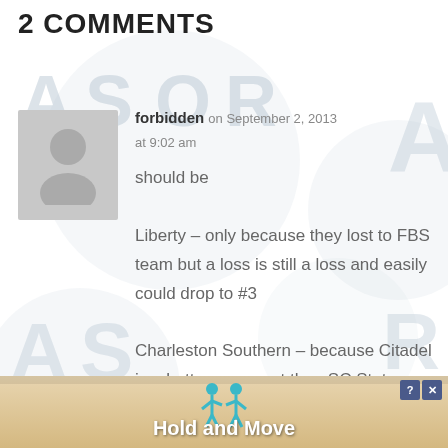2 COMMENTS
[Figure (illustration): Watermark background with stylized 'ASOR' text logos repeated in light gray]
[Figure (photo): Gray default avatar placeholder showing silhouette of a person]
forbidden on September 2, 2013 at 9:02 am
should be Liberty – only because they lost to FBS team but a loss is still a loss and easily could drop to #3 Charleston Southern – because Citadel is a better opponent than SC State
[Figure (infographic): Advertisement banner at bottom with cartoon figures and text 'Hold and Move', with close button X and help button]